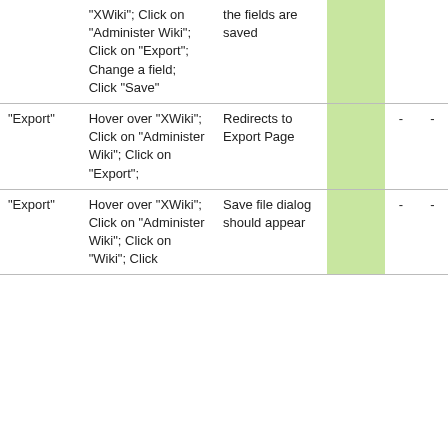|  | "XWiki"; Click on "Administer Wiki"; Click on "Export"; Change a field; Click "Save" | the fields are saved |  | - | - |
| "Export" | Hover over "XWiki"; Click on "Administer Wiki"; Click on "Export"; | Redirects to Export Page |  | - | - |
| "Export" | Hover over "XWiki"; Click on "Administer Wiki"; Click on "Wiki"; Click | Save file dialog should appear |  | - | - |